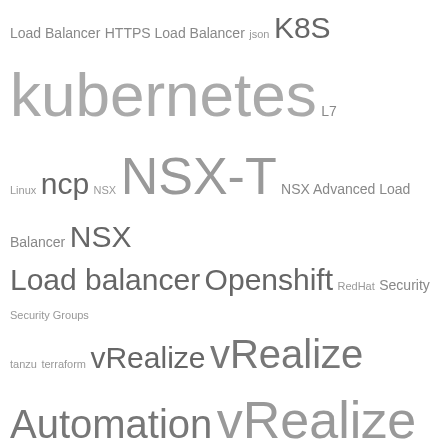Load Balancer HTTPS Load Balancer json K8S kubernetes L7 Linux ncp NSX NSX-T NSX Advanced Load Balancer NSX Load balancer Openshift RedHat Security Security Groups tanzu terraform vRealize vRealize Automation vRealize Automation 8 vRealize Automation Cloud vRealize Network Insight vRNI
Archiv:
Select Month
Search
Search